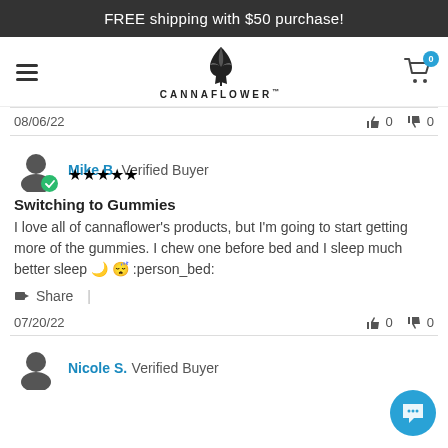FREE shipping with $50 purchase!
[Figure (logo): Cannaflower logo with cannabis leaf icon and text CANNAFLOWER]
08/06/22   👍 0   👎 0
Mike B. Verified Buyer — 5 stars
Switching to Gummies
I love all of cannaflower's products, but I'm going to start getting more of the gummies. I chew one before bed and I sleep much better sleep 🌙 😴 :person_bed:
Share |
07/20/22   👍 0   👎 0
Nicole S. Verified Buyer